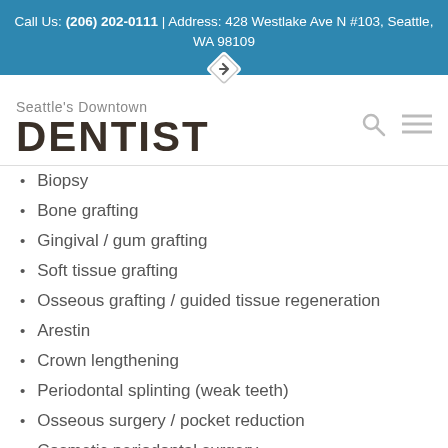Call Us: (206) 202-0111 | Address: 428 Westlake Ave N #103, Seattle, WA 98109
Seattle's Downtown DENTIST
Biopsy
Bone grafting
Gingival / gum grafting
Soft tissue grafting
Osseous grafting / guided tissue regeneration
Arestin
Crown lengthening
Periodontal splinting (weak teeth)
Osseous surgery / pocket reduction
Cosmetic periodontal surgery
Scaling and root planing
Occlusal adjustment